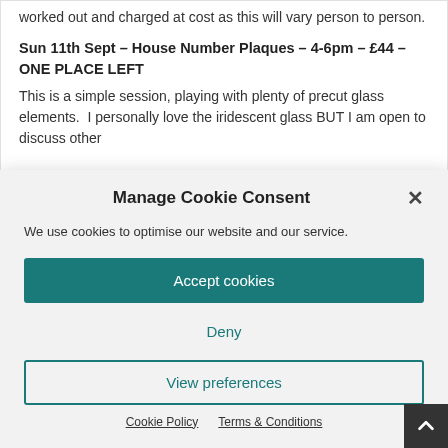worked out and charged at cost as this will vary person to person.
Sun 11th Sept – House Number Plaques – 4-6pm – £44 – ONE PLACE LEFT
This is a simple session, playing with plenty of precut glass elements.  I personally love the iridescent glass BUT I am open to discuss other
Manage Cookie Consent
We use cookies to optimise our website and our service.
Accept cookies
Deny
View preferences
Cookie Policy    Terms & Conditions